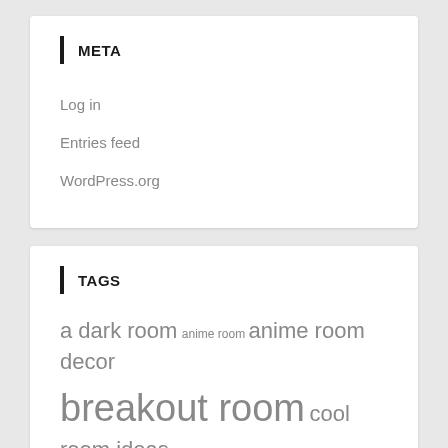META
Log in
Entries feed
WordPress.org
TAGS
a dark room anime room anime room decor breakout room cool room ideas craft room ideas cream white room diy room divider escape room game escape room houston escape room online family room